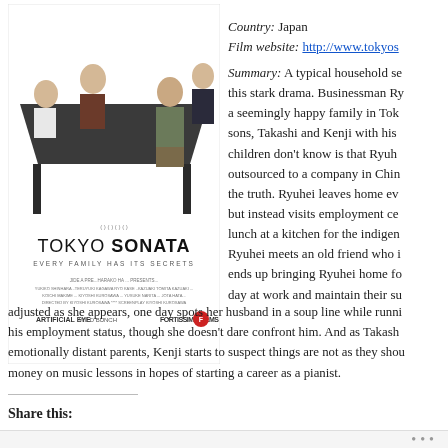[Figure (photo): Tokyo Sonata movie poster showing four people around a dark table on a white background, with the film title and credits below]
Country: Japan
Film website: http://www.tokyos...
Summary: A typical household se... this stark drama. Businessman Ry... a seemingly happy family in Tok... sons, Takashi and Kenji with his... children don't know is that Ryuh... outsourced to a company in Chin... the truth. Ryuhei leaves home ev... but instead visits employment ce... lunch at a kitchen for the indigen... Ryuhei meets an old friend who i... ends up bringing Ryuhei home fo... day at work and maintain their su...
adjusted as she appears, one day spots her husband in a soup line while runni... his employment status, though she doesn't dare confront him. And as Takash... emotionally distant parents, Kenji starts to suspect things are not as they shou... money on music lessons in hopes of starting a career as a pianist.
Share this: